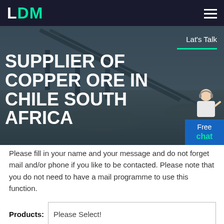LDM
SUPPLIER OF COPPER ORE IN CHILE SOUTH AFRICA
Lat's Talk
[Figure (illustration): Blue chat button with headset agent figure, labeled 'Free chat']
Please fill in your name and your message and do not forget mail and/or phone if you like to be contacted. Please note that you do not need to have a mail programme to use this function.
Products: Please Select!